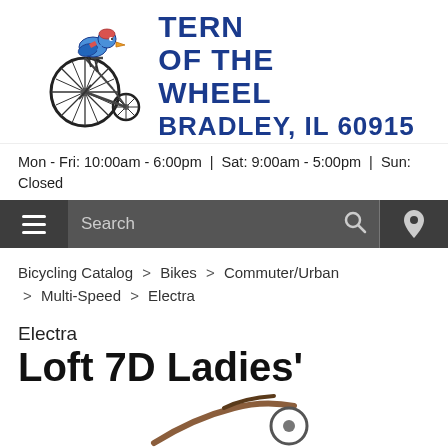[Figure (logo): Tern of the Wheel bicycle shop logo: a bird riding a penny-farthing bicycle, with text 'TERN OF THE WHEEL' and 'BRADLEY, IL 60915']
Mon - Fri: 10:00am - 6:00pm  |  Sat: 9:00am - 5:00pm  |  Sun: Closed
Search
Bicycling Catalog > Bikes > Commuter/Urban > Multi-Speed > Electra
Electra
Loft 7D Ladies'
[Figure (photo): Partial view of an Electra Loft 7D Ladies bicycle, showing handlebars and front portion]